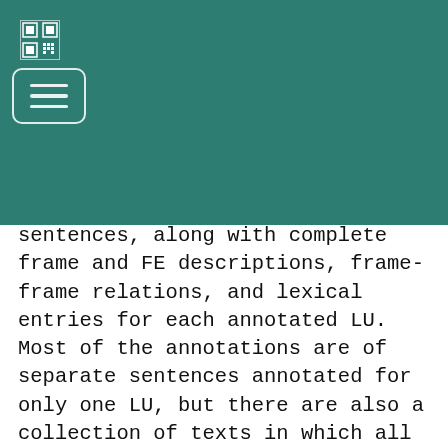sentences, along with complete frame and FE descriptions, frame-frame relations, and lexical entries for each annotated LU. Most of the annotations are of separate sentences annotated for only one LU, but there are also a collection of texts in which all the frame-evoking words have been annotated; the overlapping frames provide a rich representation of much of the meaning of the entire text. The FrameNet team have defined more than 1,000 semantic frames and have linked them together by a system of frame relations, which relate more general frames to more specific ones and provide a basis for reasoning about events and intentional actions.